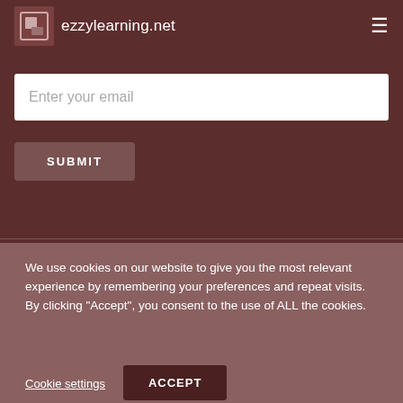ezzylearning.net
Enter your email
SUBMIT
We use cookies on our website to give you the most relevant experience by remembering your preferences and repeat visits. By clicking "Accept", you consent to the use of ALL the cookies.
Cookie settings
ACCEPT